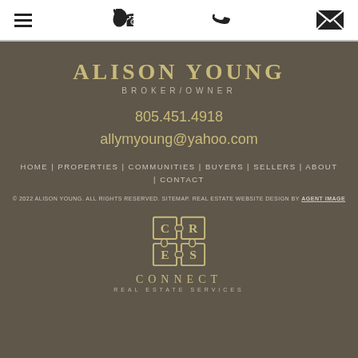[menu icon] [phone icon] [mail icon]
ALISON YOUNG
BROKER/OWNER
805.451.4918
allymyoung@yahoo.com
HOME | PROPERTIES | COMMUNITIES | BUYERS | SELLERS | ABOUT | CONTACT
© 2022 ALISON YOUNG. ALL RIGHTS RESERVED. SITEMAP. REAL ESTATE WEBSITE DESIGN BY AGENT IMAGE
[Figure (logo): Connect Real Estate Services puzzle-piece logo with letters C, R, E, S and text CONNECT REAL ESTATE SERVICES]